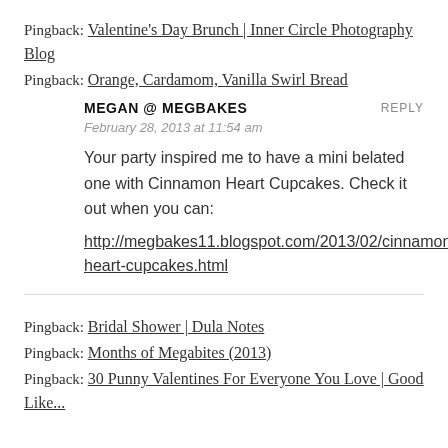Pingback: Valentine's Day Brunch | Inner Circle Photography Blog
Pingback: Orange, Cardamom, Vanilla Swirl Bread
MEGAN @ MEGBAKES
REPLY
February 28, 2013 at 11:54 am
Your party inspired me to have a mini belated one with Cinnamon Heart Cupcakes. Check it out when you can:
http://megbakes11.blogspot.com/2013/02/cinnamon-heart-cupcakes.html
Pingback: Bridal Shower | Dula Notes
Pingback: Months of Megabites (2013)
Pingback: 30 Punny Valentines For Everyone You Love | Good Like...